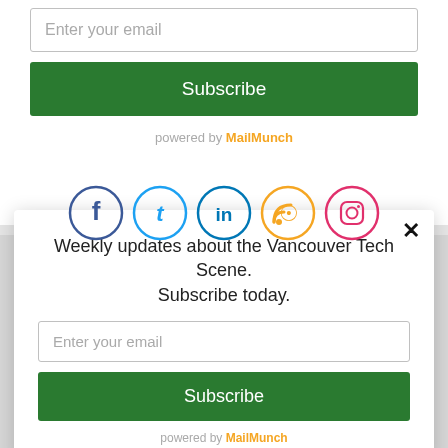Enter your email
Subscribe
powered by MailMunch
[Figure (illustration): Row of 5 social media icons in circles: Facebook (dark blue), Twitter (blue), LinkedIn (blue), RSS (orange), Instagram (red/orange)]
Weekly updates about the Vancouver Tech Scene. Subscribe today.
Enter your email
Subscribe
powered by MailMunch